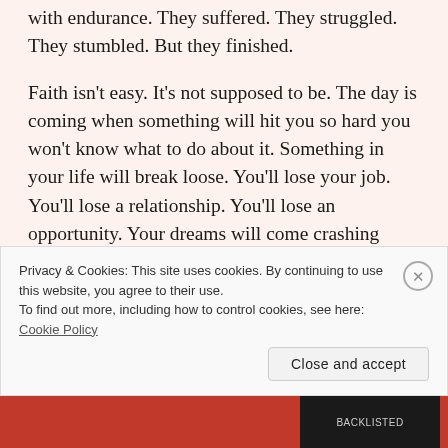with endurance. They suffered. They struggled. They stumbled. But they finished.
Faith isn't easy. It's not supposed to be. The day is coming when something will hit you so hard you won't know what to do about it. Something in your life will break loose. You'll lose your job. You'll lose a relationship. You'll lose an opportunity. Your dreams will come crashing down around you. Your family will fall apart. And all you'll want is an answer. All you'll want from God is for Him to fix it ... or to tell you why. And He may not do either.
Privacy & Cookies: This site uses cookies. By continuing to use this website, you agree to their use. To find out more, including how to control cookies, see here: Cookie Policy